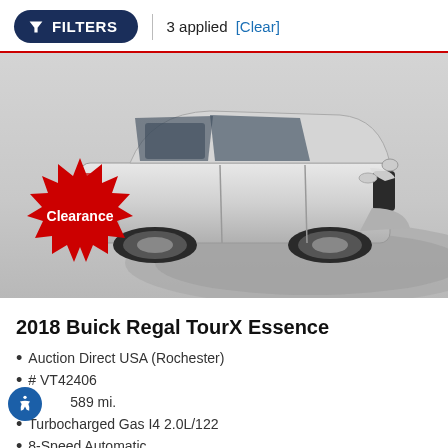FILTERS | 3 applied [Clear]
[Figure (photo): Silver 2018 Buick Regal TourX Essence station wagon on a circular platform in a showroom, with a red 'Clearance' starburst badge in the lower left corner.]
2018 Buick Regal TourX Essence
Auction Direct USA (Rochester)
# VT42406
589 mi.
Turbocharged Gas I4 2.0L/122
8-Speed Automatic